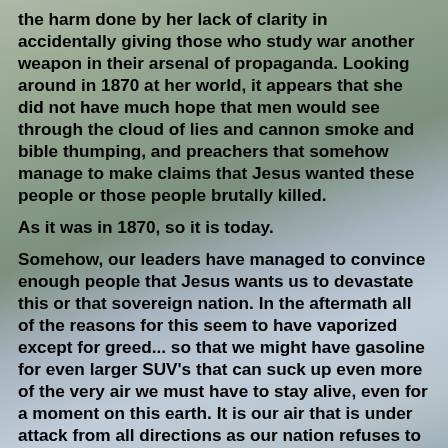the harm done by her lack of clarity in accidentally giving those who study war another weapon in their arsenal of propaganda. Looking around in 1870 at her world, it appears that she did not have much hope that men would see through the cloud of lies and cannon smoke and bible thumping, and preachers that somehow manage to make claims that Jesus wanted these people or those people brutally killed.
As it was in 1870, so it is today.
Somehow, our leaders have managed to convince enough people that Jesus wants us to devastate this or that sovereign nation. In the aftermath all of the reasons for this seem to have vaporized except for greed... so that we might have gasoline for even larger SUV's that can suck up even more of the very air we must have to stay alive, even for a moment on this earth. It is our air that is under attack from all directions as our nation refuses to take the proper steps to end the poisoning of our oceans and accelerates the destruction of our forests, this is where it comes from you should know,